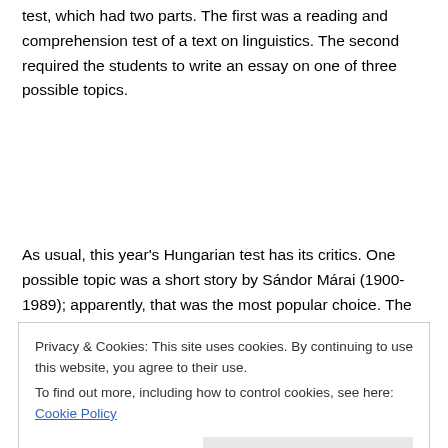test, which had two parts. The first was a reading and comprehension test of a text on linguistics. The second required the students to write an essay on one of three possible topics.
As usual, this year's Hungarian test has its critics. One possible topic was a short story by Sándor Márai (1900-1989); apparently, that was the most popular choice. The second was an essay by Leszek Kołakowski, the Polish philosopher, who is, as I found out, not well known in Hungary. Most likely the students had no idea who the man was. But it was the third that  raised the most eyebrows.
Privacy & Cookies: This site uses cookies. By continuing to use this website, you agree to their use. To find out more, including how to control cookies, see here: Cookie Policy